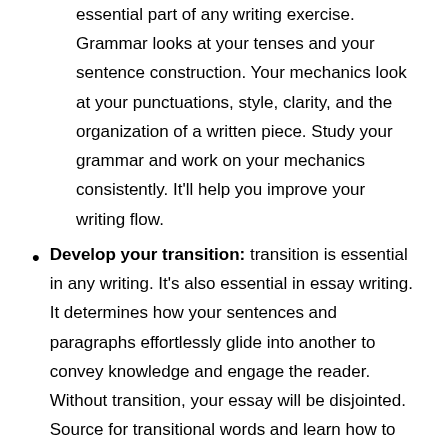essential part of any writing exercise. Grammar looks at your tenses and your sentence construction. Your mechanics look at your punctuations, style, clarity, and the organization of a written piece. Study your grammar and work on your mechanics consistently. It'll help you improve your writing flow.
Develop your transition: transition is essential in any writing. It's also essential in essay writing. It determines how your sentences and paragraphs effortlessly glide into another to convey knowledge and engage the reader. Without transition, your essay will be disjointed. Source for transitional words and learn how to use them when writing.
Build a writing outline: assuming you can use your grammar and transitions correctly, you may still find it challenging to write effectively. This can be due to unorganized thoughts. When your thoughts are not organized, it reflects in your writing. Outline and place